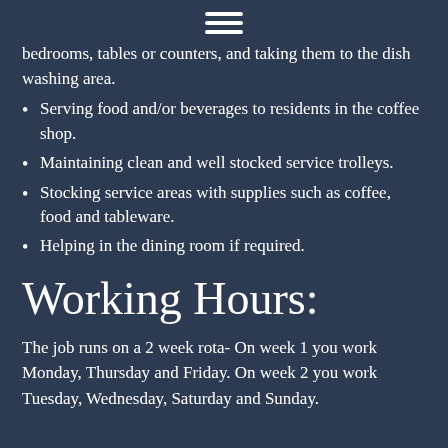[Figure (other): Hamburger menu icon — three horizontal white lines stacked vertically, centered at top of page]
bedrooms, tables or counters, and taking them to the dish washing area.
Serving food and/or beverages to residents in the coffee shop.
Maintaining clean and well stocked service trolleys.
Stocking service areas with supplies such as coffee, food and tableware.
Helping in the dining room if required.
Working Hours:
The job runs on a 2 week rota- On week 1 you work Monday, Thursday and Friday. On week 2 you work Tuesday, Wednesday, Saturday and Sunday.